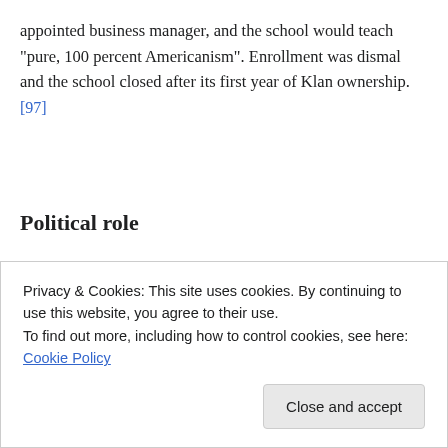appointed business manager, and the school would teach “pure, 100 percent Americanism”. Enrollment was dismal and the school closed after its first year of Klan ownership. [97]
Political role
[Figure (illustration): Historical poster or illustration with text 'WE ARE ALL LOYAL KLANSMEN' showing robed figures and an American flag]
Privacy & Cookies: This site uses cookies. By continuing to use this website, you agree to their use. To find out more, including how to control cookies, see here: Cookie Policy